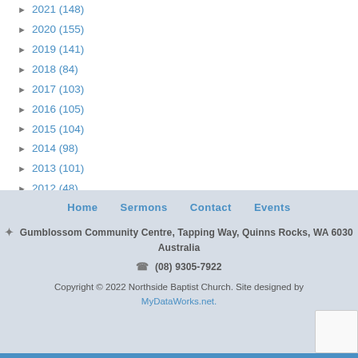► 2021 (148)
► 2020 (155)
► 2019 (141)
► 2018 (84)
► 2017 (103)
► 2016 (105)
► 2015 (104)
► 2014 (98)
► 2013 (101)
► 2012 (48)
Home  Sermons  Contact  Events
✦ Gumblossom Community Centre, Tapping Way, Quinns Rocks, WA 6030 Australia
☎ (08) 9305-7922
Copyright © 2022 Northside Baptist Church. Site designed by MyDataWorks.net.